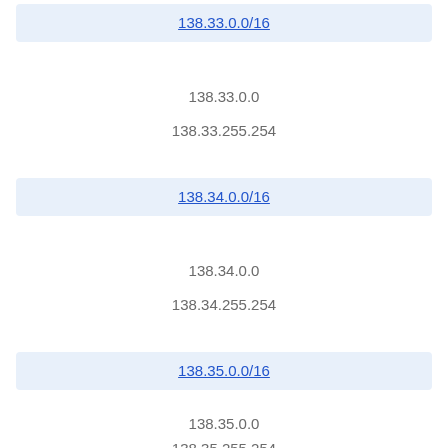138.33.0.0/16
138.33.0.0
138.33.255.254
138.34.0.0/16
138.34.0.0
138.34.255.254
138.35.0.0/16
138.35.0.0
138.35.255.254